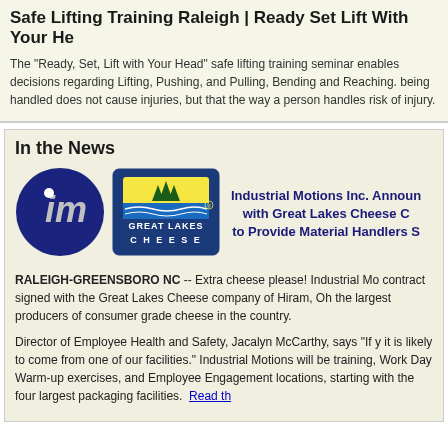Safe Lifting Training Raleigh | Ready Set Lift With Your He
The "Ready, Set, Lift with Your Head" safe lifting training seminar enables decisions regarding Lifting, Pushing, and Pulling, Bending and Reaching. being handled does not cause injuries, but that the way a person handles risk of injury.
In the News
[Figure (logo): Industrial Motions Inc. logo - dark blue circle with 'im' letters in silver]
[Figure (logo): Great Lakes Cheese logo - blue rectangular badge with yellow sun and trees]
Industrial Motions Inc. Announces partnership with Great Lakes Cheese Co to Provide Material Handlers S
RALEIGH-GREENSBORO NC -- Extra cheese please! Industrial Motions contract signed with the Great Lakes Cheese company of Hiram, Ohio one of the largest producers of consumer grade cheese in the country.
Director of Employee Health and Safety, Jacalyn McCarthy, says "If you buy cheese it is likely to come from one of our facilities." Industrial Motions will be providing training, Work Day Warm-up exercises, and Employee Engagement at multiple locations, starting with the four largest packaging facilities. Read th